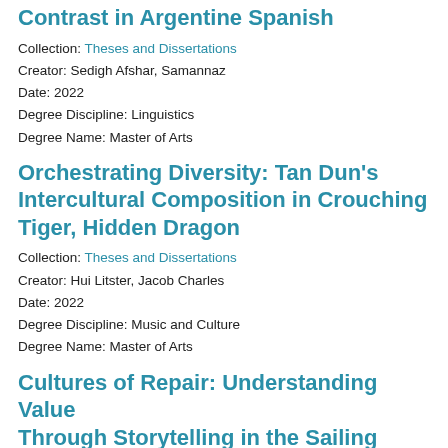Contrast in Argentine Spanish
Collection: Theses and Dissertations
Creator: Sedigh Afshar, Samannaz
Date: 2022
Degree Discipline: Linguistics
Degree Name: Master of Arts
Orchestrating Diversity: Tan Dun’s Intercultural Composition in Crouching Tiger, Hidden Dragon
Collection: Theses and Dissertations
Creator: Hui Litster, Jacob Charles
Date: 2022
Degree Discipline: Music and Culture
Degree Name: Master of Arts
Cultures of Repair: Understanding Value Through Storytelling in the Sailing